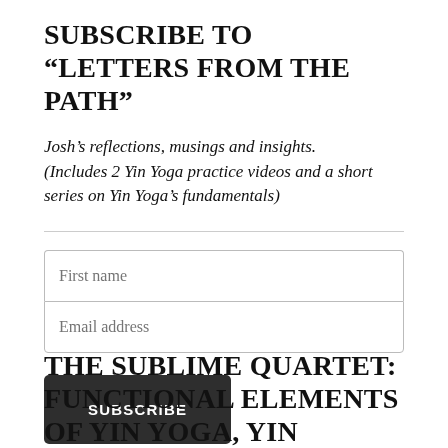SUBSCRIBE TO “LETTERS FROM THE PATH”
Josh’s reflections, musings and insights. (Includes 2 Yin Yoga practice videos and a short series on Yin Yoga’s fundamentals)
First name
Email address
SUBSCRIBE
THE SUBLIME QUARTET: FUNCTIONAL ELEMENTS OF YIN YOGA, YIN